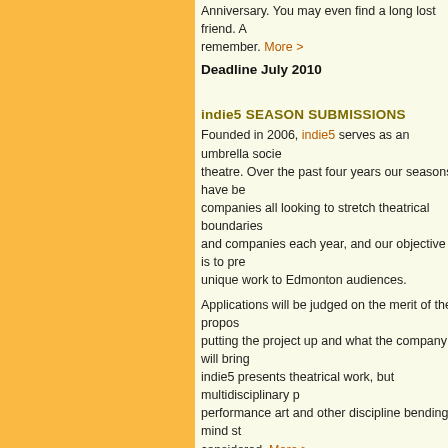Anniversary. You may even find a long lost friend. More > remember.
Deadline July 2010
indie5 SEASON SUBMISSIONS
Founded in 2006, indie5 serves as an umbrella society for theatre. Over the past four years our seasons have been companies all looking to stretch theatrical boundaries and companies each year, and our objective is to present unique work to Edmonton audiences.
Applications will be judged on the merit of the proposal, putting the project up and what the company will bring. indie5 presents theatrical work, but multidisciplinary performance art and other discipline bending, mind stretching considered. More >
Deadline April 30, 2010
SIMINOVITCH PRIZE  - Call for nominations for Ca
Canada's largest annual theatre arts award, the 2010 given to a professional director who advances Canada achieved in recent years, while influencing and inspiring
Deadline June 4, 2010
WORKSHOPS